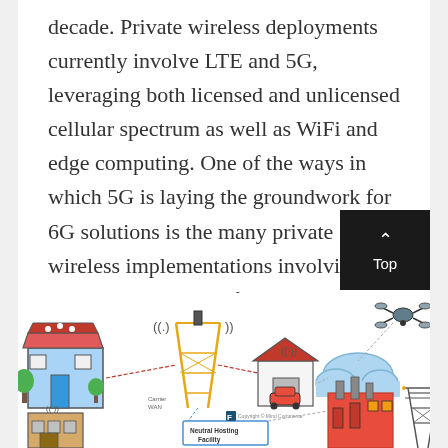decade. Private wireless deployments currently involve LTE and 5G, leveraging both licensed and unlicensed cellular spectrum as well as WiFi and edge computing. One of the ways in which 5G is laying the groundwork for 6G solutions is the many private wireless implementations involving 5G and edge computing for enterprise and industrial customers.
[Figure (infographic): Infographic showing a private wireless network diagram with icons for a retail store, a cell tower with wireless signals, a house with a car, a cloud, a drone, a factory, a power transmission tower, and a neutral hosting facility box. Lines connect the elements indicating network connectivity. Copyright notice visible: 'Copyright © Mind Commerce'. Label 'Carrier WAN' visible.]